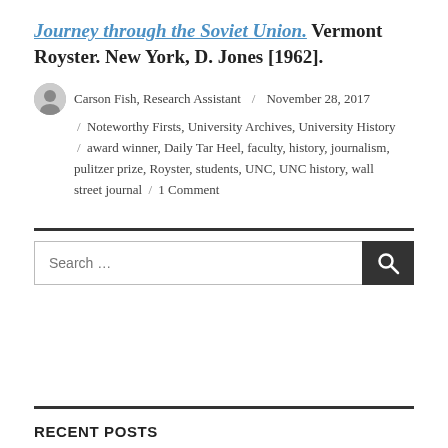Journey through the Soviet Union. Vermont Royster. New York, D. Jones [1962].
Carson Fish, Research Assistant / November 28, 2017 / Noteworthy Firsts, University Archives, University History / award winner, Daily Tar Heel, faculty, history, journalism, pulitzer prize, Royster, students, UNC, UNC history, wall street journal / 1 Comment
[Figure (other): Search bar with text input and search button]
RECENT POSTS